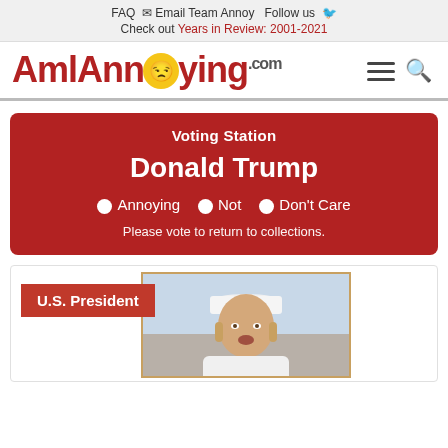FAQ  Email Team Annoy  Follow us
Check out Years in Review: 2001-2021
[Figure (logo): AmlAnnoying.com logo with angry emoji face replacing the 'o', in red bold font, with hamburger menu and search icon on the right]
Voting Station
Donald Trump
Annoying  Not  Don't Care
Please vote to return to collections.
U.S. President
[Figure (photo): Photo of a person in white outfit and white cap, partially visible, in a card layout]